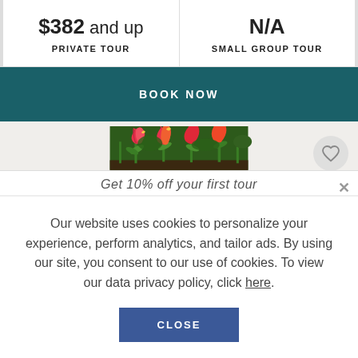| PRIVATE TOUR | SMALL GROUP TOUR |
| --- | --- |
| $382 and up | N/A |
BOOK NOW
[Figure (photo): Photo of red and orange tulips in a garden with green foliage, with a circular heart/favorite button in the top right corner.]
Get 10% off your first tour
Our website uses cookies to personalize your experience, perform analytics, and tailor ads. By using our site, you consent to our use of cookies. To view our data privacy policy, click here.
CLOSE